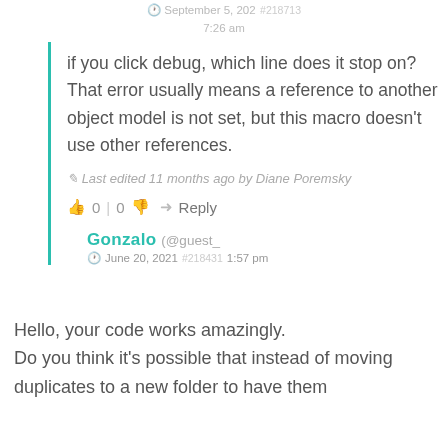September 5, 202 7:26 am #218713
if you click debug, which line does it stop on? That error usually means a reference to another object model is not set, but this macro doesn't use other references.
Last edited 11 months ago by Diane Poremsky
0 | 0   Reply
Gonzalo (@guest_
June 20, 2021 #218431 1:57 pm
Hello, your code works amazingly.
Do you think it's possible that instead of moving duplicates to a new folder to have them